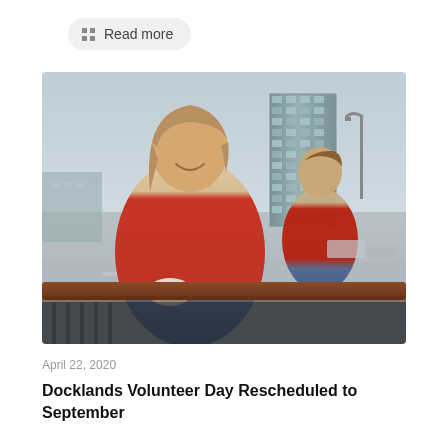Read more
[Figure (photo): Two volunteers in red t-shirts painting or cleaning a railing on a bridge. A woman in the foreground is smiling broadly, wearing white gloves. A man is visible behind her. In the background is a modern glass office tower and a street lamp under an overcast sky.]
April 22, 2020
Docklands Volunteer Day Rescheduled to September